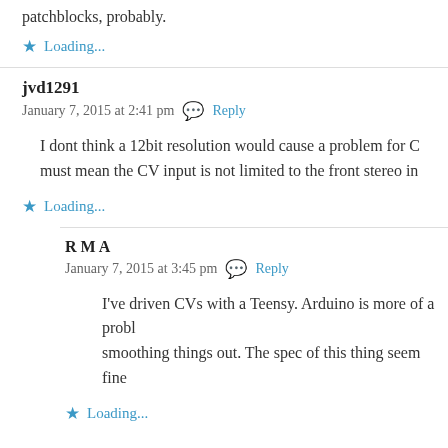patchblocks, probably.
Loading...
jvd1291
January 7, 2015 at 2:41 pm  Reply
I dont think a 12bit resolution would cause a problem for C... must mean the CV input is not limited to the front stereo in...
Loading...
R M A
January 7, 2015 at 3:45 pm  Reply
I've driven CVs with a Teensy. Arduino is more of a probl... smoothing things out. The spec of this thing seem fine...
Loading...